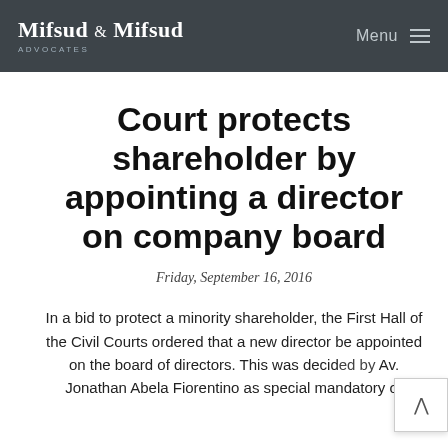Mifsud & Mifsud ADVOCATES | Menu
Court protects shareholder by appointing a director on company board
Friday, September 16, 2016
In a bid to protect a minority shareholder, the First Hall of the Civil Courts ordered that a new director be appointed on the board of directors. This was decided by Av. Jonathan Abela Fiorentino as special mandatory or